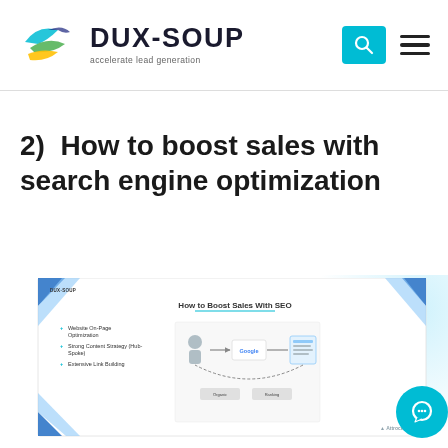DUX-SOUP — accelerate lead generation
2)  How to boost sales with search engine optimization
[Figure (screenshot): Preview slide of a DUX-SOUP presentation titled 'How to Boost Sales With SEO' showing bullet points (Website On-Page Optimization, Strong Content Strategy (Hub-Spoke), Extensive Link Building) and a diagram showing Google search flow. Decorative blue geometric corner elements visible. Attrock logo at bottom right.]